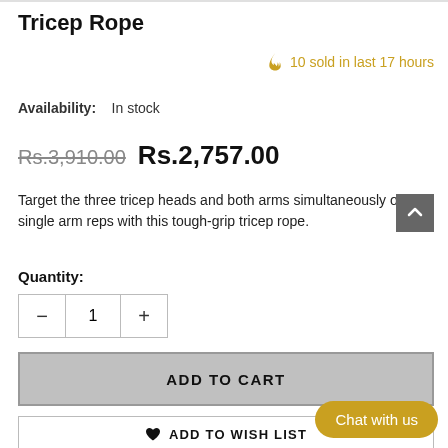Tricep Rope
🔥 10 sold in last 17 hours
Availability: In stock
Rs.3,910.00 Rs.2,757.00
Target the three tricep heads and both arms simultaneously or for single arm reps with this tough-grip tricep rope.
Quantity:
- 1 +
ADD TO CART
ADD TO WISH LIST
Chat with us